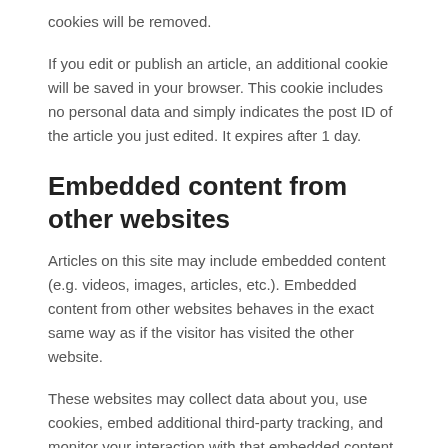cookies will be removed.
If you edit or publish an article, an additional cookie will be saved in your browser. This cookie includes no personal data and simply indicates the post ID of the article you just edited. It expires after 1 day.
Embedded content from other websites
Articles on this site may include embedded content (e.g. videos, images, articles, etc.). Embedded content from other websites behaves in the exact same way as if the visitor has visited the other website.
These websites may collect data about you, use cookies, embed additional third-party tracking, and monitor your interaction with that embedded content, including tracking your interaction with the embedded content if you have an account and are logged in to that website.